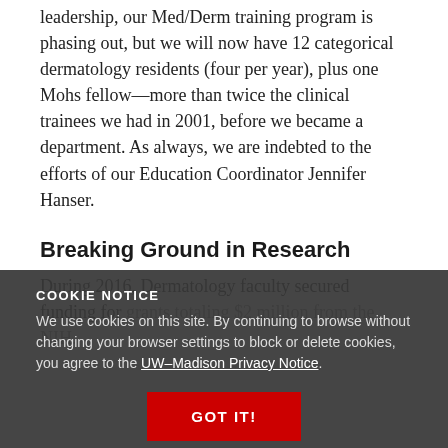leadership, our Med/Derm training program is phasing out, but we will now have 12 categorical dermatology residents (four per year), plus one Mohs fellow—more than twice the clinical trainees we had in 2001, before we became a department. As always, we are indebted to the efforts of our Education Coordinator Jennifer Hanser.
Breaking Ground in Research
During 2016, Dermatology faculty secured funding for grants totaling $2 million from the NIH.
COOKIE NOTICE
We use cookies on this site. By continuing to browse without changing your browser settings to block or delete cookies, you agree to the UW–Madison Privacy Notice.
GOT IT!